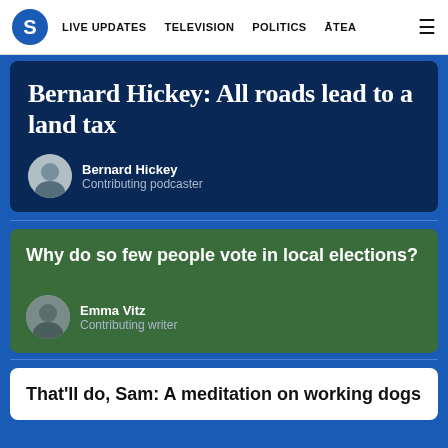S  LIVE UPDATES  TELEVISION  POLITICS  ĀTEA  ≡
Bernard Hickey: All roads lead to a land tax
Bernard Hickey
Contributing podcaster
Why do so few people vote in local elections?
Emma Vitz
Contributing writer
That'll do, Sam: A meditation on working dogs